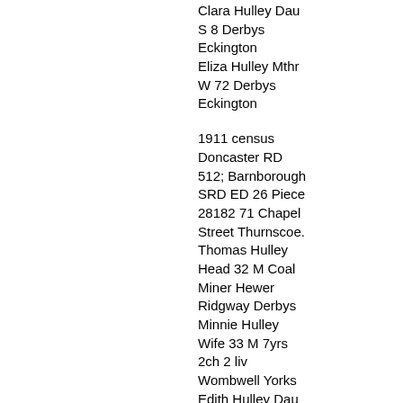Clara Hulley Dau S 8 Derbys Eckington Eliza Hulley Mthr W 72 Derbys Eckington
1911 census Doncaster RD 512; Barnborough SRD ED 26 Piece 28182 71 Chapel Street Thurnscoe. Thomas Hulley Head 32 M Coal Miner Hewer Ridgway Derbys Minnie Hulley Wife 33 M 7yrs 2ch 2 liv Wombwell Yorks Edith Hulley Dau 6 School Ridgway Derbys Mary Hulley Dau 2 Thurnscoe Yorks James Hulley Father 60 W Coal Miner Hewer Ridgway Derbys